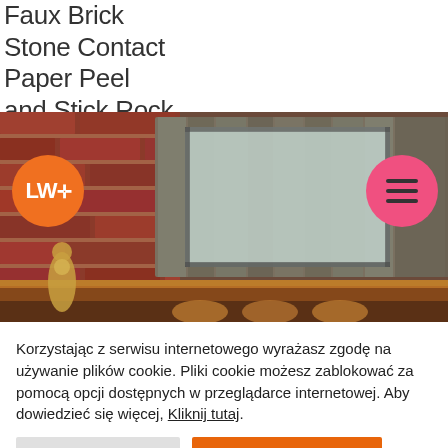Faux Brick Stone Contact Paper Peel and Stick Rock Wallpaper
[Figure (photo): Interior photo showing a brick wall with wooden panels, warm lighting underneath, and golden decorative figurines on the left. Orange LWF logo circle on left and pink hamburger menu circle on right are overlaid.]
Korzystając z serwisu internetowego wyrażasz zgodę na używanie plików cookie. Pliki cookie możesz zablokować za pomocą opcji dostępnych w przeglądarce internetowej. Aby dowiedzieć się więcej, Kliknij tutaj.